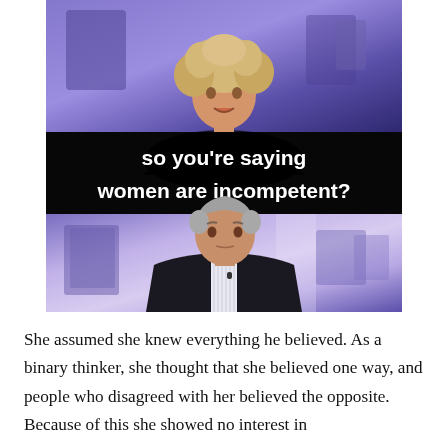[Figure (screenshot): Two-panel TV interview screenshot. Top panel shows a woman with curly blonde hair speaking, overlaid with bold white text on a dark semi-transparent bar reading 'so you're saying women are incompetent?'. Bottom panel shows a middle-aged man with grey hair wearing a dark suit and striped shirt, sitting with a serious expression. Purple/blue studio background.]
She assumed she knew everything he believed. As a binary thinker, she thought that she believed one way, and people who disagreed with her believed the opposite. Because of this she showed no interest in